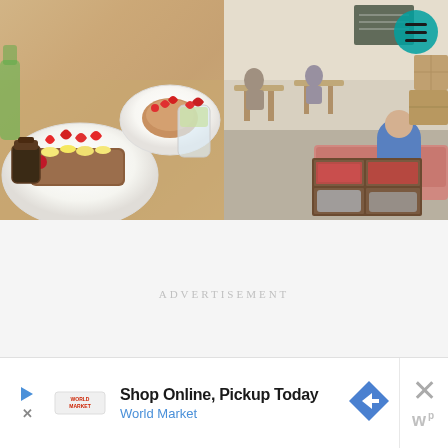[Figure (photo): Food photo showing plates of french toast topped with strawberries, bananas and other fruit on a wooden table, with a glass jar of syrup and a dessert cup with strawberries in background.]
[Figure (photo): Cafe interior photo showing people seated at wooden tables in a bright open space with a menu blackboard on the wall. A wooden shelving unit in foreground holds books and cushions. A hamburger menu icon visible in top right corner.]
ADVERTISEMENT
[Figure (other): Advertisement banner for World Market showing 'Shop Online, Pickup Today' with a blue navigation arrow diamond icon and World Market text in blue. Has play/close controls.]